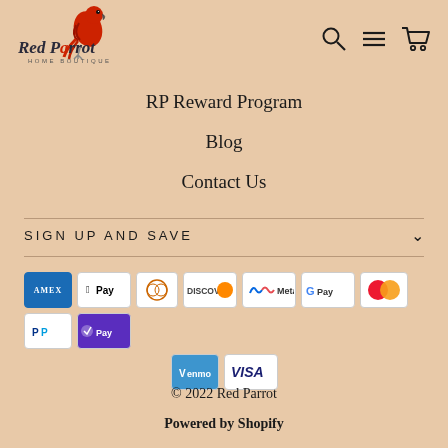[Figure (logo): Red Parrot Home Boutique logo with red parrot illustration and text]
[Figure (illustration): Navigation icons: search magnifying glass, menu/hamburger, shopping cart]
RP Reward Program
Blog
Contact Us
SIGN UP AND SAVE
[Figure (illustration): Payment method icons: American Express, Apple Pay, Diners Club, Discover, Meta Pay, Google Pay, Mastercard, PayPal, Shop Pay, Venmo, Visa]
© 2022 Red Parrot
Powered by Shopify